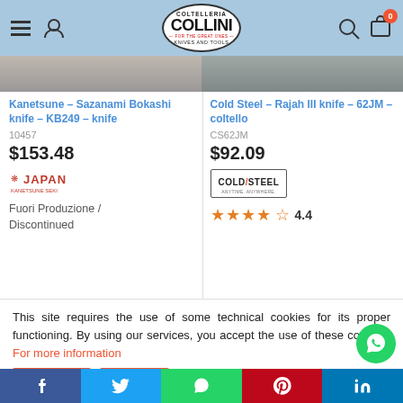Coltelleria Collini - Knives and Tools
Kanetsune - Sazanami Bokashi knife - KB249 - knife
10457
$153.48
[Figure (logo): Japan Kanetsune brand logo in red]
Fuori Produzione / Discontinued
Cold Steel - Rajah III knife - 62JM - coltello
CS62JM
$92.09
[Figure (logo): Cold Steel brand logo in box]
4.4
This site requires the use of some technical cookies for its proper functioning. By using our services, you accept the use of these cookies. For more information
Settings
Agree